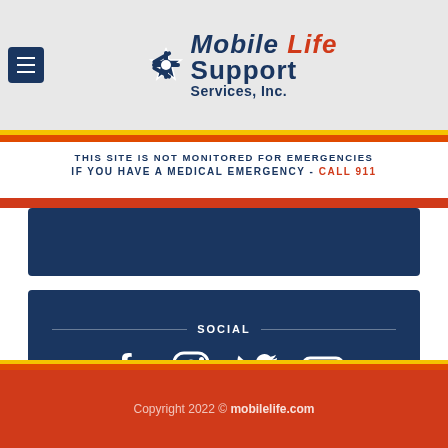[Figure (screenshot): Mobile Life Support Services, Inc. website header with hamburger menu and logo]
THIS SITE IS NOT MONITORED FOR EMERGENCIES
IF YOU HAVE A MEDICAL EMERGENCY - CALL 911
SOCIAL
[Figure (infographic): Social media icons: Facebook, Instagram, Twitter, YouTube]
Copyright 2022 © mobilelife.com